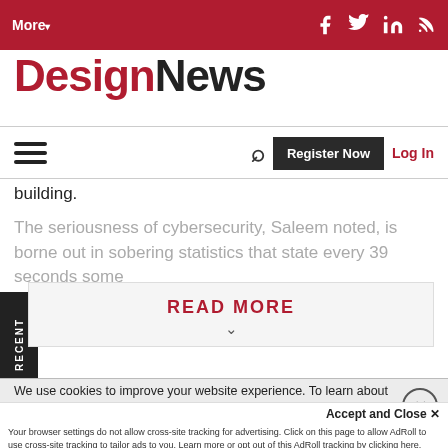More ▾  [Facebook] [Twitter] [LinkedIn] [RSS]
[Figure (logo): DesignNews logo — 'Design' in red, 'News' in dark/black bold serif font]
☰  🔍  Register Now  Log In
building.
The seriousness of cybersecurity, Saleem noted, is borne out in sobering statistics that state every 39 seconds some
READ MORE ∨
We use cookies to improve your website experience. To learn about our use of cookies and how you can manage your cookie settings, please see our Cookie Policy. By continuing to use the website, you consent to our us...
Accept and Close ✕
Your browser settings do not allow cross-site tracking for advertising. Click on this page to allow AdRoll to use cross-site tracking to tailor ads to you. Learn more or opt out of this AdRoll tracking by clicking here. This message only appears once.